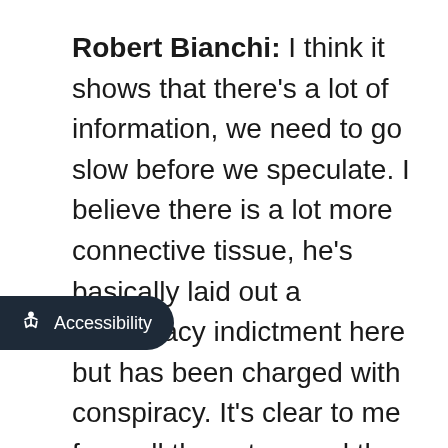Robert Bianchi: I think it shows that there's a lot of information, we need to go slow before we speculate. I believe there is a lot more connective tissue, he's basically laid out a conspiracy indictment here but has been charged with conspiracy. It's clear to me from all the actors and the detail of this that there are a lot more charges coming down in my opinion. Watch next Julie Assange and WikiLeaks, [obscured] to being conspirators with [obscured] this. The question will become whether or not Stone and or, the Trump